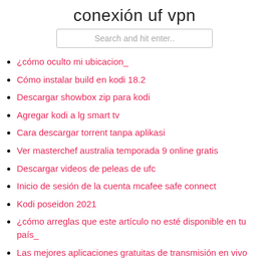conexión uf vpn
Search and hit enter..
¿cómo oculto mi ubicacion_
Cómo instalar build en kodi 18.2
Descargar showbox zip para kodi
Agregar kodi a lg smart tv
Cara descargar torrent tanpa aplikasi
Ver masterchef australia temporada 9 online gratis
Descargar videos de peleas de ufc
Inicio de sesión de la cuenta mcafee safe connect
Kodi poseidon 2021
¿cómo arreglas que este artículo no esté disponible en tu país_
Las mejores aplicaciones gratuitas de transmisión en vivo